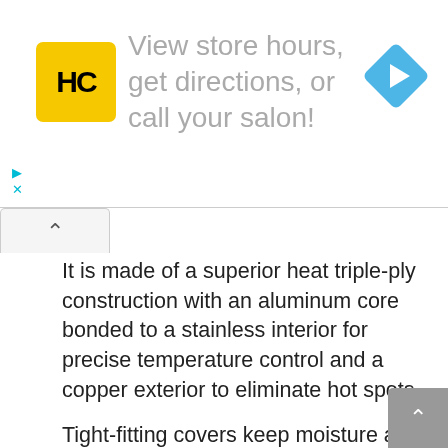[Figure (logo): HC Salon logo with yellow background and black HC lettering, with navigation arrow diamond icon on right, and ad text 'View store hours, get directions, or call your salon!']
It is made of a superior heat triple-ply construction with an aluminum core bonded to a stainless interior for precise temperature control and a copper exterior to eliminate hot spots.
Tight-fitting covers keep moisture and nutrients in, resulting in healthier, more flavorful results every time you cook.
This copper cookware is compatible with electric, glass-ceramic, and halogen stovetops in addition to gas stovetops. Oven